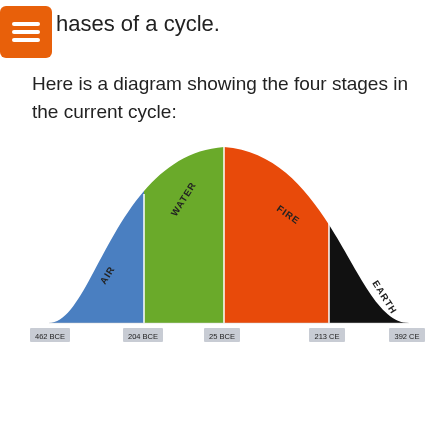…will relate the historical events to these four phases of a cycle.
Here is a diagram showing the four stages in the current cycle:
[Figure (other): Bell-curve shaped diagram divided into four colored sections (AIR=blue, WATER=green, FIRE=orange, EARTH=black) with date labels on x-axis: 462 BCE, 204 BCE, 25 BCE, 213 CE, 392 CE. Labels for each section are written diagonally above the curve.]